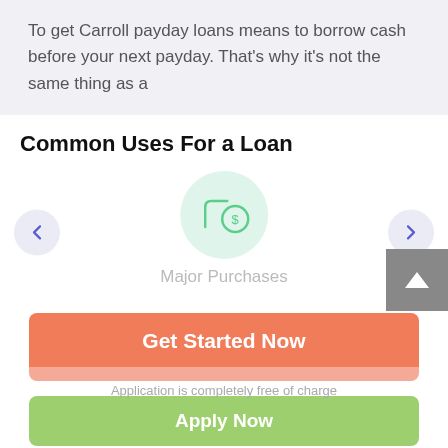To get Carroll payday loans means to borrow cash before your next payday. That's why it's not the same thing as a
Common Uses For a Loan
[Figure (illustration): Carousel with left and right navigation arrows. Center shows a green circle icon with a loan/money tag symbol. Below the icon is the label 'Major Purchases' in gray text. A gray scroll-up button is on the bottom right.]
Get Started Now
Application is completely free of charge
Apply Now
Applying does NOT affect your credit score!
No credit check to apply.
Testimonials